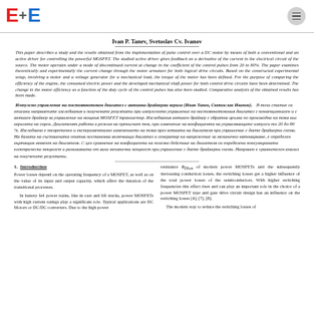E+E logo header
Ivan P. Tanev, Svetoslav Cv. Ivanov
This paper describes a study and the results obtained from the implementation of pulse control over a DC motor by means of both a conventional and an active driver for controlling the powerful MOSFET. The studied active driver gives feedback on a derivative of the current in the electrical circuit of the source. The motor operates under a mode of discontinued current at change in the coefficient of the control pulses from 20 to 80%. The paper examines theoretically and experimentally the current change through the motor armature for both logical drive circuits. Based on the constructed experimental setup, involving a motor and a voltage generator for a mechanical load, the torque of the motor has been defined. For the purpose of comparing the efficiency of the engine, the consumed electric power and the developed mechanical shaft power for both control drive circuits have been determined. The change in the motor efficiency as a function of the duty cycle of the control pulses has also been studied. Comparative analysis of the obtained results has been made.
Импулсно управление на постояннотоков двигател с активна драйверна верига (Иван Танев, Светослав Иванов). В този статие са описани направените изследвания и получените резултати при импулсното управление на постояннотоковия двигател с конвенционален и с активен драйвер за управление на мощния MOSFET транзистор. Изследвания активен драйвер с обратна връзка по производна на тока във веригата на сорса. Двигателят работи в режим на прекъснат ток, при изменение на коефициента на управляващите импулси то 20 до 80 %. Изследвано е теоретично и експериментално изменението на тока през котвата на двигателя при управление с двете драйверни схема. На базата на съставената опитна постановка включваща двигател и генератор на напрежение за механично натоварване, е определен въртящия момент на двигателя. С цел сравнение на коефициента на полезно действие на двигателя са определени консумираната електрическа мощност и развиваната от вала механична мощност при управление с двете драйверни схеми. Направен е сравнителен анализ на получените резултати.
1. Introduction
Power losses depend on the operating frequency of a MOSFET, as well as on the value of its input and output capacity, which affect the duration of the transitional processes.
In battery fed power trains, like in cars and lift trucks, power MOSFETs with high current ratings play a significant role. Typical applications are DC Motors or DC/DC converters. Due to the high power
resistance RDSon of modern power MOSFETs and the subsequently decreasing conduction losses, the switching losses get a higher influence of the total power losses of the semiconductors. With higher switching frequencies this effect rises and can play an important role in the choice of a power MOSFET type and gate drive circuit design has an influence on the switching losses [4], [7], [8].
The modern way to reduce the switching losses of